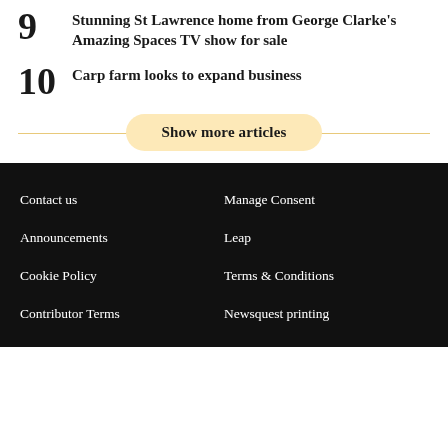9 Stunning St Lawrence home from George Clarke's Amazing Spaces TV show for sale
10 Carp farm looks to expand business
Show more articles
Contact us | Manage Consent | Announcements | Leap | Cookie Policy | Terms & Conditions | Contributor Terms | Newsquest printing